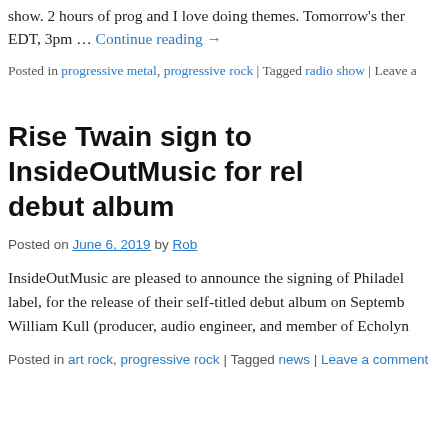show. 2 hours of prog and I love doing themes. Tomorrow's the… EDT, 3pm … Continue reading →
Posted in progressive metal, progressive rock | Tagged radio show | Leave a…
Rise Twain sign to InsideOutMusic for release of debut album
Posted on June 6, 2019 by Rob
InsideOutMusic are pleased to announce the signing of Philadelphia… label, for the release of their self-titled debut album on Septemb… William Kull (producer, audio engineer, and member of Echolyn…
Posted in art rock, progressive rock | Tagged news | Leave a comment